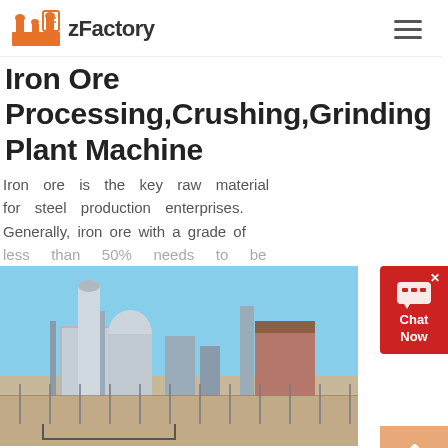zFactory
Iron Ore Processing,Crushing,Grinding Plant Machine
Iron ore is the key raw material for steel production enterprises. Generally, iron ore with a grade of less than 50% needs to be
[Figure (photo): Industrial iron ore processing plant with tall silos, chimneys, and industrial structures under a blue sky]
[Figure (photo): Iron ore raw materials / rocks and industrial equipment]